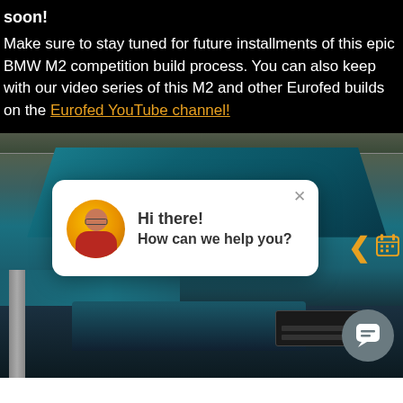soon!
Make sure to stay tuned for future installments of this epic BMW M2 competition build process. You can also keep with our video series of this M2 and other Eurofed builds on the Eurofed YouTube channel!
[Figure (photo): A BMW M2 competition car raised on a lift in a garage, showing the underside of the front bumper and the open hood, teal/blue color. A chat popup overlay with an avatar saying 'Hi there! How can we help you?' is visible over the photo.]